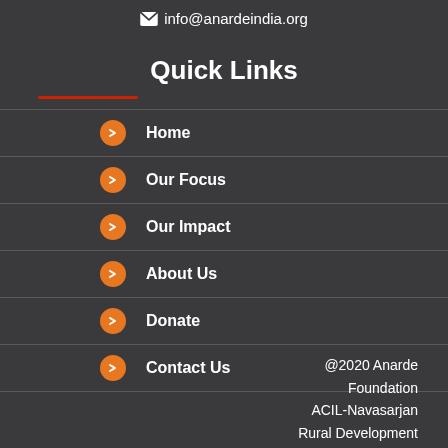✉ info@anardeindia.org
Quick Links
Home
Our Focus
Our Impact
About Us
Donate
Contact Us
@2020 Anarde Foundation ACIL-Navasarjan Rural Development